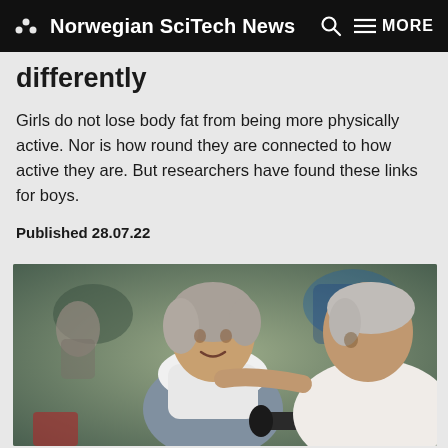Norwegian SciTech News
differently
Girls do not lose body fat from being more physically active. Nor is how round they are connected to how active they are. But researchers have found these links for boys.
Published 28.07.22
[Figure (photo): An older woman and older man at a gym; the woman is smiling and holding a dumbbell with a white towel around her neck, while the man in a white t-shirt stands beside her.]